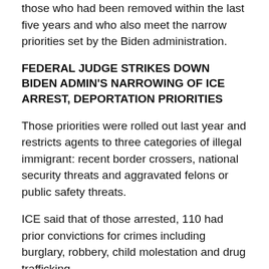those who had been removed within the last five years and who also meet the narrow priorities set by the Biden administration.
FEDERAL JUDGE STRIKES DOWN BIDEN ADMIN'S NARROWING OF ICE ARREST, DEPORTATION PRIORITIES
Those priorities were rolled out last year and restricts agents to three categories of illegal immigrant: recent border crossers, national security threats and aggravated felons or public safety threats.
ICE said that of those arrested, 110 had prior convictions for crimes including burglary, robbery, child molestation and drug trafficking.
“ICE is committed to the safe and effective enforcement of the nation’s immigration laws as our officers fulfill our important public safety mission,” acting ICE Director Tae...